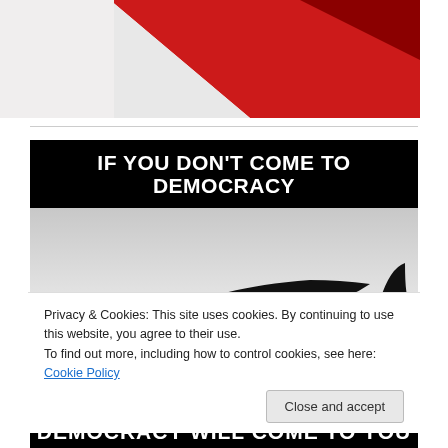[Figure (photo): Top portion of a webpage showing a red and white geometric/flag graphic against a white background]
[Figure (illustration): Black and white image of a military bomber aircraft silhouette on a light gray background, with bold white text on black banner reading 'IF YOU DON'T COME TO DEMOCRACY']
Privacy & Cookies: This site uses cookies. By continuing to use this website, you agree to their use.
To find out more, including how to control cookies, see here: Cookie Policy
Close and accept
DEMOCRACY WILL COME TO YOU